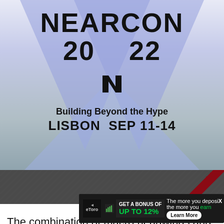[Figure (illustration): NEARCON 2022 event banner with blue/lavender triangle geometric shapes on gradient background. Large bold text reads NEARCON 2022 with the NEAR Protocol logo (stylized N). Subtitle: Building Beyond the Hype. Location and date: LISBON SEP 11-14.]
[Figure (photo): Dark grey textured strip with a diagonal dark red/maroon stripe on the right side, appearing to be a conference venue background image.]
The combination of macro headwinds and over... res...
[Figure (screenshot): eToro advertisement banner: GET A BONUS OF UP TO 12%. The more you deposit the more you earn. Learn More button. Close X button.]